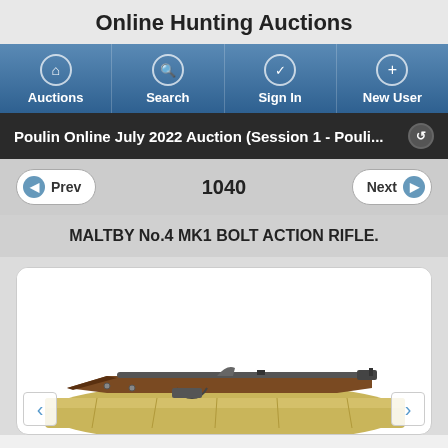Online Hunting Auctions
[Figure (screenshot): Navigation bar with four buttons: Auctions (home icon), Search (magnifier icon), Sign In (checkmark icon), New User (plus icon)]
Poulin Online July 2022 Auction (Session 1 - Pouli...
Prev  1040  Next
MALTBY No.4 MK1 BOLT ACTION RIFLE.
[Figure (photo): Photo of a Maltby No.4 MK1 bolt action rifle lying on a yellow/khaki canvas bag or case, showing the full length of the rifle with wooden stock and metal barrel]